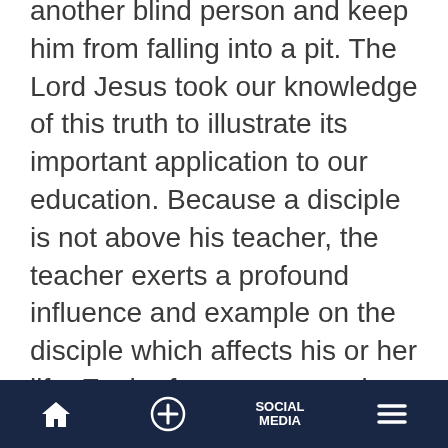another blind person and keep him from falling into a pit. The Lord Jesus took our knowledge of this truth to illustrate its important application to our education. Because a disciple is not above his teacher, the teacher exerts a profound influence and example on the disciple which affects his or her life. Each of us can remember an example of a teacher who, because of a mature and competent command of the subject or character trait being taught, inspired and instructed us most effectively, with a life-changing result.
Home | + | SOCIAL MEDIA | Menu